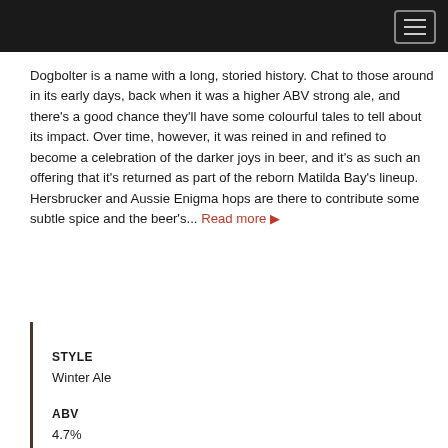Dogbolter is a name with a long, storied history. Chat to those around in its early days, back when it was a higher ABV strong ale, and there's a good chance they'll have some colourful tales to tell about its impact. Over time, however, it was reined in and refined to become a celebration of the darker joys in beer, and it's as such an offering that it's returned as part of the reborn Matilda Bay's lineup. Hersbrucker and Aussie Enigma hops are there to contribute some subtle spice and the beer's... Read more ▶
STYLE
Winter Ale
ABV
4.7%
BITTERNESS